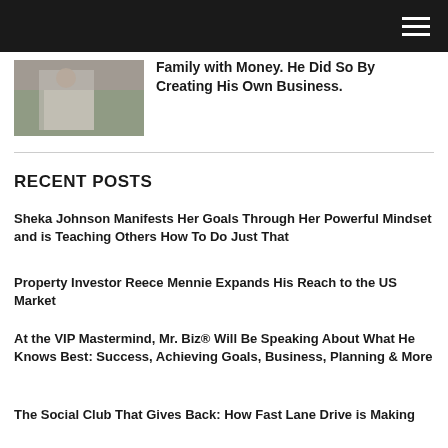[Figure (other): Dark navigation bar with hamburger menu icon on the right]
[Figure (photo): Thumbnail image of a person holding something, partially visible]
Family with Money. He Did So By Creating His Own Business.
RECENT POSTS
Sheka Johnson Manifests Her Goals Through Her Powerful Mindset and is Teaching Others How To Do Just That
Property Investor Reece Mennie Expands His Reach to the US Market
At the VIP Mastermind, Mr. Biz® Will Be Speaking About What He Knows Best: Success, Achieving Goals, Business, Planning & More
The Social Club That Gives Back: How Fast Lane Drive is Making